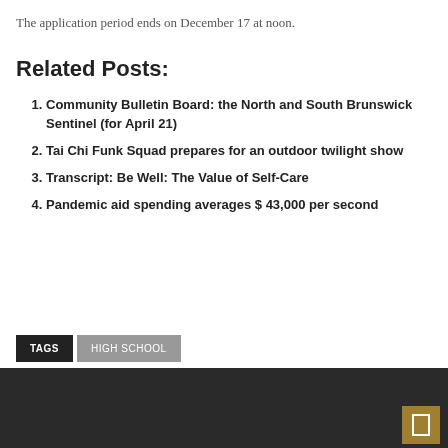The application period ends on December 17 at noon.
Related Posts:
Community Bulletin Board: the North and South Brunswick Sentinel (for April 21)
Tai Chi Funk Squad prepares for an outdoor twilight show
Transcript: Be Well: The Value of Self-Care
Pandemic aid spending averages $ 43,000 per second
TAGS  HIGH SCHOOL